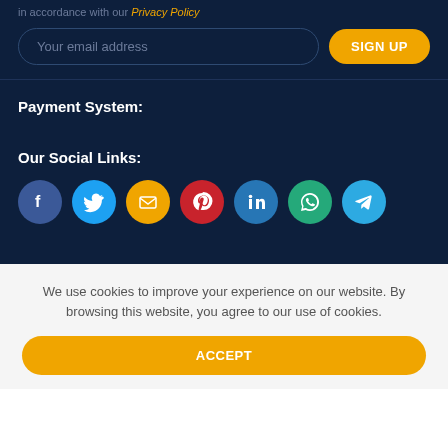in accordance with our Privacy Policy
Your email address
SIGN UP
Payment System:
Our Social Links:
[Figure (infographic): Row of 7 social media icons: Facebook (dark blue), Twitter (light blue), Email/Mail (orange), Pinterest (red), LinkedIn (teal-blue), WhatsApp (green), Telegram (light blue)]
We use cookies to improve your experience on our website. By browsing this website, you agree to our use of cookies.
ACCEPT